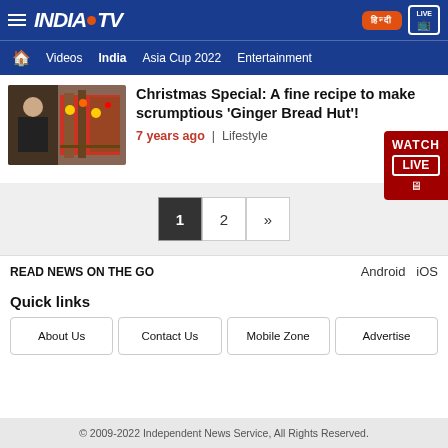INDIA TV — top navigation bar with hamburger menu, logo, Hindi button, and LIVE TV button
Videos | India | Asia Cup 2022 | Entertainment
[Figure (photo): Thumbnail image of a chef in front of Christmas decorations and a gingerbread display]
Christmas Special: A fine recipe to make scrumptious 'Ginger Bread Hut'!
7 years ago | Lifestyle
[Figure (other): WATCH LIVE badge in red on the right side]
1  2  »
READ NEWS ON THE GO   Android  iOS
Quick links
About Us
Contact Us
Mobile Zone
Advertise
© 2009-2022 Independent News Service, All Rights Reserved.